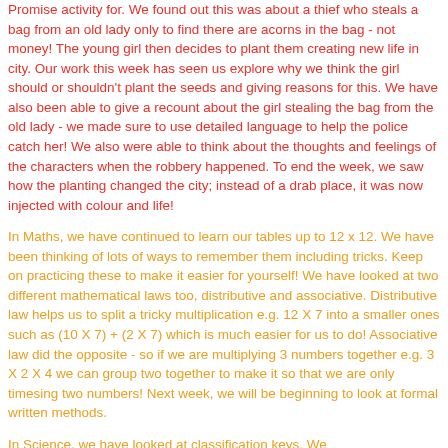Promise activity for. We found out this was about a thief who steals a bag from an old lady only to find there are acorns in the bag - not money! The young girl then decides to plant them creating new life in city. Our work this week has seen us explore why we think the girl should or shouldn't plant the seeds and giving reasons for this. We have also been able to give a recount about the girl stealing the bag from the old lady - we made sure to use detailed language to help the police catch her! We also were able to think about the thoughts and feelings of the characters when the robbery happened. To end the week, we saw how the planting changed the city; instead of a drab place, it was now injected with colour and life!
In Maths, we have continued to learn our tables up to 12 x 12. We have been thinking of lots of ways to remember them including tricks. Keep on practicing these to make it easier for yourself! We have looked at two different mathematical laws too, distributive and associative. Distributive law helps us to split a tricky multiplication e.g. 12 X 7 into a smaller ones such as (10 X 7) + (2 X 7) which is much easier for us to do! Associative law did the opposite - so if we are multiplying 3 numbers together e.g. 3 X 2 X 4 we can group two together to make it so that we are only timesing two numbers! Next week, we will be beginning to look at formal written methods.
In Science, we have looked at classification keys. We